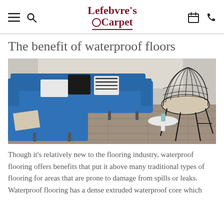Lefebvre's Carpet
The benefit of waterproof floors
[Figure (photo): A modern living room with a blue L-shaped sofa, black wire chair, and grey wood-look waterproof flooring]
Though it’s relatively new to the flooring industry, waterproof flooring offers benefits that put it above many traditional types of flooring for areas that are prone to damage from spills or leaks. Waterproof flooring has a dense extruded waterproof core which